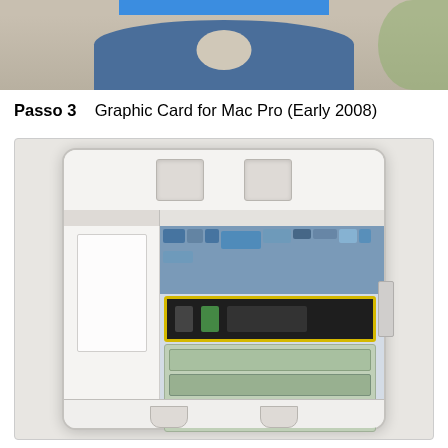[Figure (photo): Top portion of a webpage showing a person sitting, with a blue rectangular highlight/tab visible at the top center area]
Passo 3    Graphic Card for Mac Pro (Early 2008)
[Figure (photo): Interior view of a Mac Pro (Early 2008) tower computer case showing the motherboard, GPU slot highlighted with a yellow border, RAM modules, drive bays, and internal components from a top-down perspective]